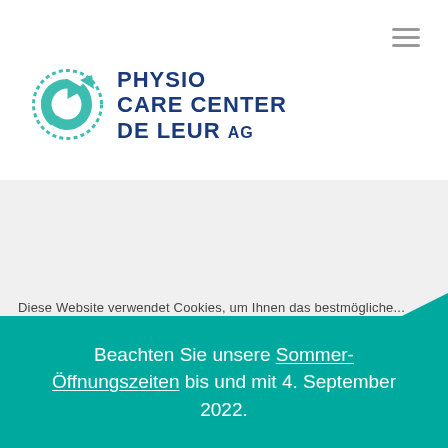[Figure (logo): Physio Care Center De Leur AG logo with teal circular arrow icon and dark blue text]
[Figure (other): Light gray banner/hero area, partially visible]
Diese Website verwendet Cookies, um Ihnen das bestmögliche ...
Beachten Sie unsere Sommer-Öffnungszeiten bis und mit 4. September 2022.